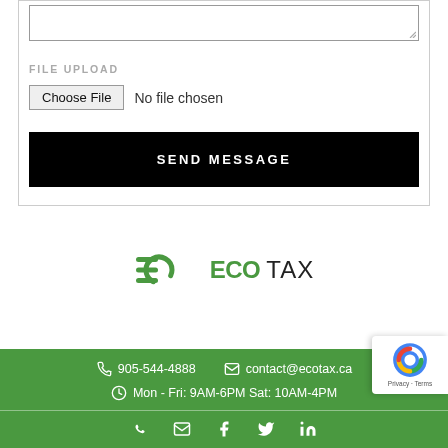(textarea box — top of form)
FILE UPLOAD
Choose File  No file chosen
SEND MESSAGE
[Figure (logo): EcoTax logo with green stylized ECO letters and black TAX text]
905-544-4888  contact@ecotax.ca  Mon - Fri: 9AM-6PM Sat: 10AM-4PM